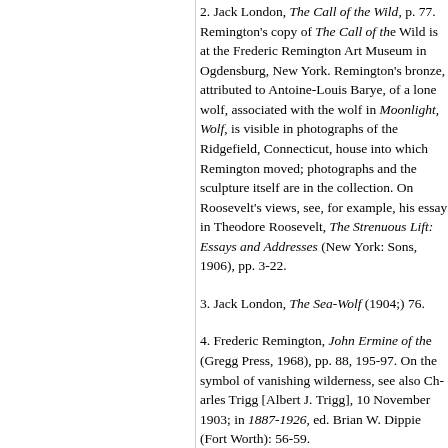2. Jack London, The Call of the Wild, p. 77. Remington's copy of The Call of the Wild is at the Frederic Remington Art Museum in Ogdensburg, New York. Remington's bronze, attributed to Antoine-Louis Barye, of a lone wolf, associated with the wolf in Moonlight, Wolf, is visible in photographs of the Ridgefield, Connecticut, house into which Remington moved; photographs and the sculpture itself are in the collection. On Roosevelt's views, see, for example, his essay in Theodore Roosevelt, The Strenuous Lift: Essays and Addresses (New York: Sons, 1906), pp. 3-22.
3. Jack London, The Sea-Wolf (1904), pp. 76.
4. Frederic Remington, John Ermine of the (Gregg Press, 1968), pp. 88, 195-97. On the symbol of vanishing wilderness, see also Trigg [Albert J. Trigg], 10 November 1903; in 1887-1926, ed. Brian W. Dippie (Fort Wo 56-59.